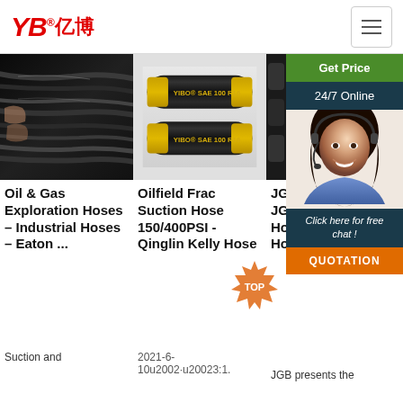YB亿博
[Figure (photo): Photo of black hydraulic hoses/cables being held by hands]
[Figure (photo): Two YIBO SAE 100 R16 black hydraulic hoses with gold fittings on grey background]
[Figure (photo): Close-up of dark frac hose]
[Figure (photo): Female customer service representative wearing headset, smiling]
Get Price
24/7 Online
Click here for free chat !
QUOTATION
Oil & Gas Exploration Hoses – Industrial Hoses – Eaton ...
Oilfield Frac Suction Hose 150/400PSI - Qinglin Kelly Hose
JG Frac Hose - JGB Fracturing Hose - Frac Hose ...
2021-6-10u2002·u20023:1.
Suction and
JGB presents the